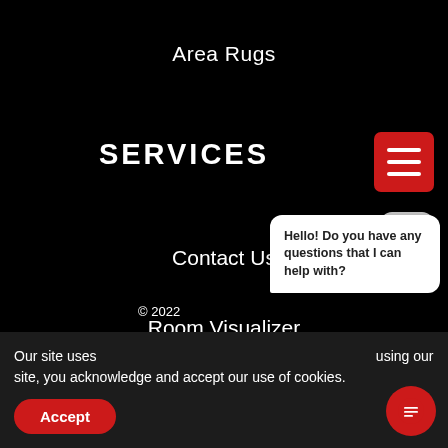Area Rugs
SERVICES
Contact Us
Room Visualizer
Schedule A Measure
Buy Now Pay Later
© 2022
Hello! Do you have any questions that I can help with?
Our site uses cookies. By continuing to use this site, or by using our site, you acknowledge and accept our use of cookies.
Accept